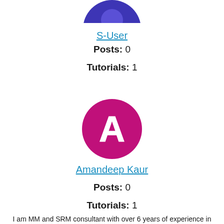[Figure (illustration): Circular avatar with blue/purple color partially visible at the top of the page for user S-User]
S-User
Posts: 0
Tutorials: 1
[Figure (illustration): Circular avatar with magenta/pink background showing a white letter A for user Amandeep Kaur]
Amandeep Kaur
Posts: 0
Tutorials: 1
I am MM and SRM consultant with over 6 years of experience in